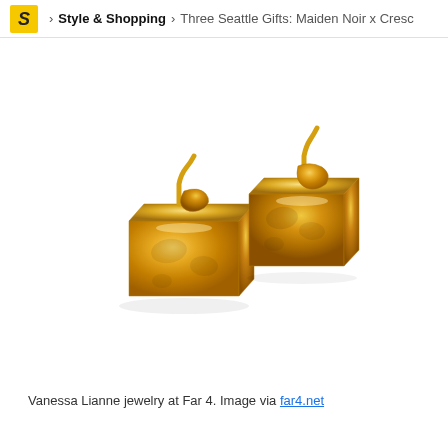S > Style & Shopping > Three Seattle Gifts: Maiden Noir x Cresc
[Figure (photo): Two gold cube-shaped stud earrings with hammered texture and post backs, photographed on a white background.]
Vanessa Lianne jewelry at Far 4. Image via far4.net